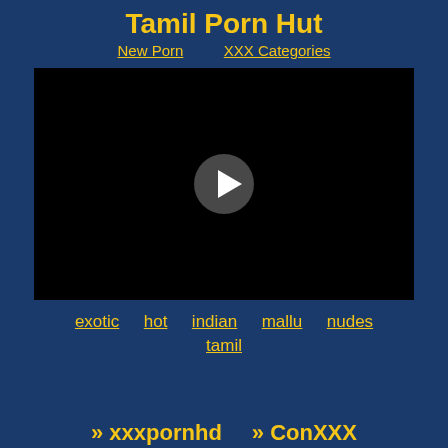Tamil Porn Hut
New Porn    XXX Categories
[Figure (screenshot): Black video player with a circular play button in the center]
exotic   hot   indian   mallu   nudes
tamil
» xxxpornhd   » ConXXX